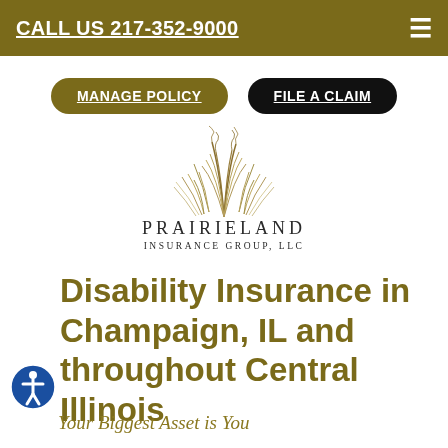CALL US 217-352-9000
MANAGE POLICY
FILE A CLAIM
[Figure (logo): Prairieland Insurance Group LLC logo with prairie grass illustration above the text PRAIRIELAND INSURANCE GROUP, LLC]
Disability Insurance in Champaign, IL and throughout Central Illinois
Your Biggest Asset is You